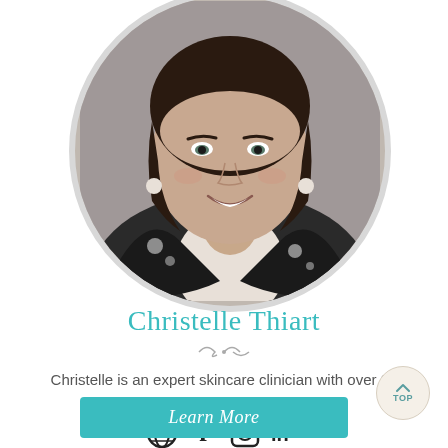[Figure (photo): Circular portrait photo of Christelle Thiart, a woman with short dark brown hair, smiling, wearing a black and white floral patterned blazer. Photo is cropped in a circle with a light grey border.]
Christelle Thiart
Christelle is an expert skincare clinician with over 25 years...
[Figure (illustration): Social media icons: globe/website, Facebook, Instagram, LinkedIn]
Learn More